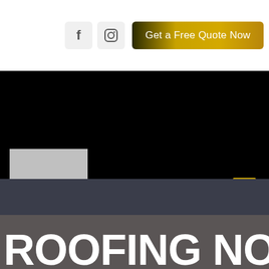[Figure (logo): Facebook icon button (light gray square with 'f' letter)]
[Figure (logo): Instagram icon button (light gray square with camera icon)]
Get a Free Quote Now
[Figure (logo): Company logo placeholder - gray rectangle on black navigation bar]
[Figure (illustration): Hamburger menu icon with three golden/yellow horizontal lines on black background]
ROOFING NORTH